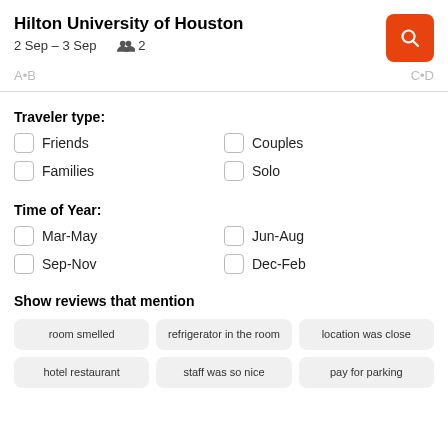Hilton University of Houston
2 Sep – 3 Sep   👥 2
(partial row content)
Traveler type:
Friends
Couples
Families
Solo
Time of Year:
Mar-May
Jun-Aug
Sep-Nov
Dec-Feb
Show reviews that mention
room smelled
refrigerator in the room
location was close
hotel restaurant
staff was so nice
pay for parking